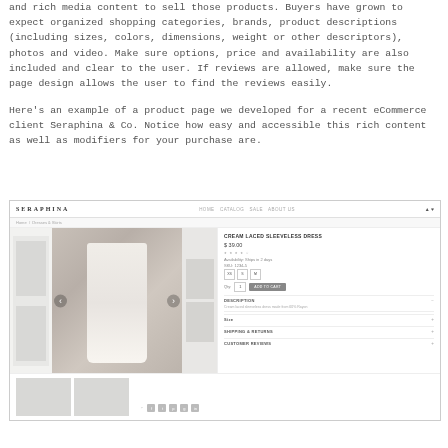and rich media content to sell those products. Buyers have grown to expect organized shopping categories, brands, product descriptions (including sizes, colors, dimensions, weight or other descriptors), photos and video. Make sure options, price and availability are also included and clear to the user. If reviews are allowed, make sure the page design allows the user to find the reviews easily.
Here's an example of a product page we developed for a recent eCommerce client Seraphina & Co. Notice how easy and accessible this rich content as well as modifiers for your purchase are.
[Figure (screenshot): Screenshot of a product page for Seraphina & Co eCommerce website showing a white dress product listing with gallery images, product title 'CREAM LACED SLEEVELESS DRESS', price $39.00, size selectors, add to cart button, and expandable sections for description, shipping, and customer reviews.]